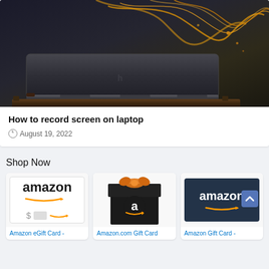[Figure (photo): HP Spectre laptop with dark metallic lid and gold swirl design pattern, viewed from back-left angle showing the hinge and copper accents]
How to record screen on laptop
August 19, 2022
Shop Now
[Figure (photo): Amazon eGift Card with amazon logo, dollar sign input field, and orange smile arrow on white background]
[Figure (photo): Amazon.com Gift Card in black gift box with orange bow and amazon 'a' logo]
[Figure (photo): Amazon Gift Card on dark navy blue background with white amazon logo]
Amazon eGift Card -
Amazon.com Gift Card
Amazon Gift Card -